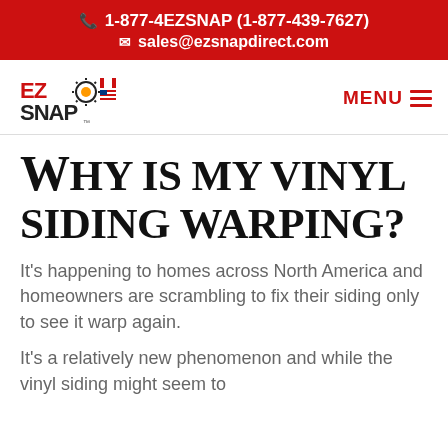1-877-4EZSNAP (1-877-439-7627)
sales@ezsnapdirect.com
[Figure (logo): EZ Snap logo with sun and Canadian/US flags]
Why is my vinyl siding warping?
It's happening to homes across North America and homeowners are scrambling to fix their siding only to see it warp again.
It's a relatively new phenomenon and while the vinyl siding might seem to